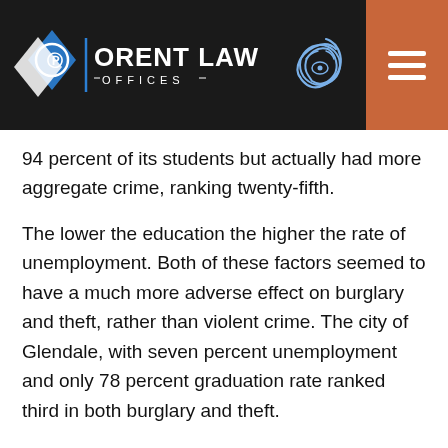Orent Law Offices
94 percent of its students but actually had more aggregate crime, ranking twenty-fifth.
The lower the education the higher the rate of unemployment. Both of these factors seemed to have a much more adverse effect on burglary and theft, rather than violent crime. The city of Glendale, with seven percent unemployment and only 78 percent graduation rate ranked third in both burglary and theft.
Climate